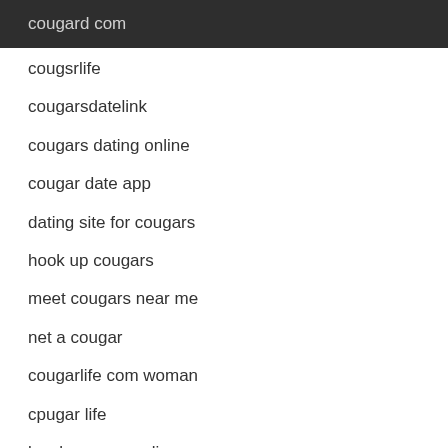cougard com
cougsrlife
cougarsdatelink
cougars dating online
cougar date app
dating site for cougars
hook up cougars
meet cougars near me
net a cougar
cougarlife com woman
cpugar life
local cougars online